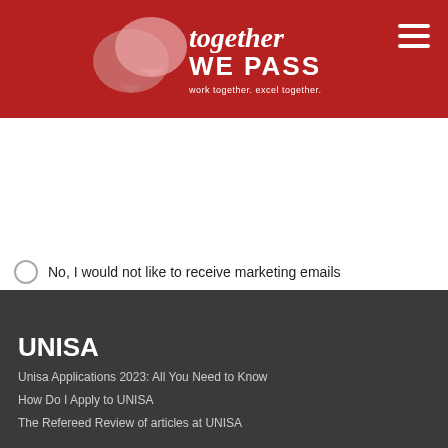[Figure (logo): Together We Pass logo with speech bubble icons and tagline 'work together. excel together.' on red background]
No, I would not like to receive marketing emails
SUBMIT
UNISA
Unisa Applications 2023: All You Need to Know
How Do I Apply to UNISA
The Refereed Review of articles at UNISA